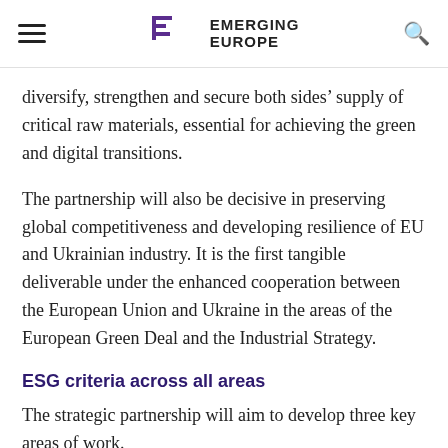EMERGING EUROPE
diversify, strengthen and secure both sides’ supply of critical raw materials, essential for achieving the green and digital transitions.
The partnership will also be decisive in preserving global competitiveness and developing resilience of EU and Ukrainian industry. It is the first tangible deliverable under the enhanced cooperation between the European Union and Ukraine in the areas of the European Green Deal and the Industrial Strategy.
ESG criteria across all areas
The strategic partnership will aim to develop three key areas of work.